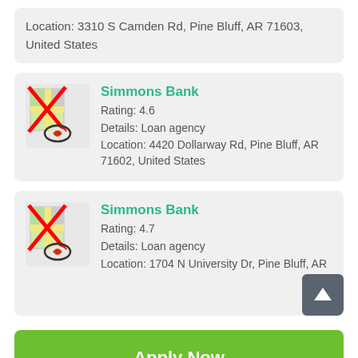Location: 3310 S Camden Rd, Pine Bluff, AR 71603, United States
Simmons Bank
Rating: 4.6
Details: Loan agency
Location: 4420 Dollarway Rd, Pine Bluff, AR 71602, United States
Simmons Bank
Rating: 4.7
Details: Loan agency
Location: 1704 N University Dr, Pine Bluff, AR
Apply Now
Applying does NOT affect your credit score!
No credit check to apply.